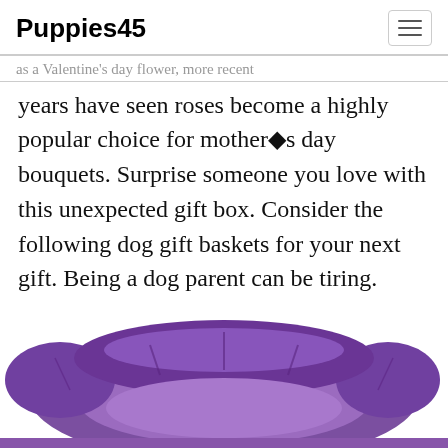Puppies45
as a Valentine's day flower, more recent years have seen roses become a highly popular choice for mother's day bouquets. Surprise someone you love with this unexpected gift box. Consider the following dog gift baskets for your next gift. Being a dog parent can be tiring.
[Figure (photo): A purple/violet plush dog bed with cushioned sides, partially cropped at the bottom of the page.]